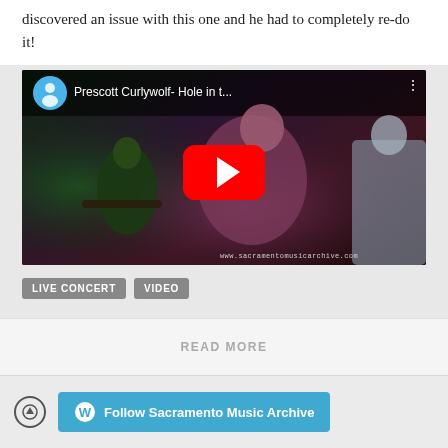discovered an issue with this one and he had to completely re-do it!
[Figure (screenshot): YouTube video embed showing Prescott Curlywolf- Hole in t... with a red play button, performers on stage in dark lighting, watermark www.sacramentomusicarchive.com]
LIVE CONCERT
VIDEO
READ MORE
Follow Sacramento Music Archive